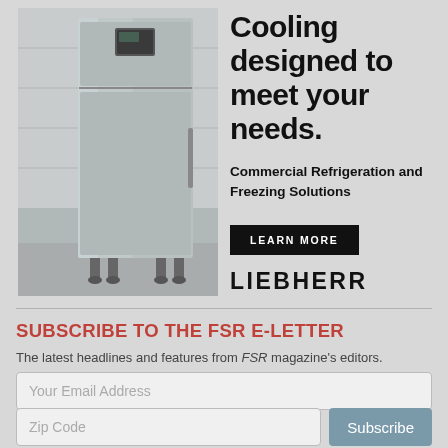[Figure (photo): Stainless steel commercial refrigerator unit standing upright in a kitchen setting]
Cooling designed to meet your needs.
Commercial Refrigeration and Freezing Solutions
LEARN MORE
LIEBHERR
SUBSCRIBE TO THE FSR E-LETTER
The latest headlines and features from FSR magazine's editors.
Your Email Address
Zip Code
Subscribe